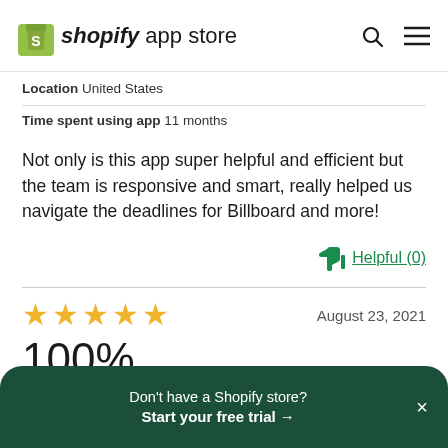[Figure (logo): Shopify App Store logo with green bag icon and text 'shopify app store']
Location   United States
Time spent using app   11 months
Not only is this app super helpful and efficient but the team is responsive and smart, really helped us navigate the deadlines for Billboard and more!
Helpful (0)
[Figure (other): Five gold star rating]
August 23, 2021
100%
Don't have a Shopify store? Start your free trial →